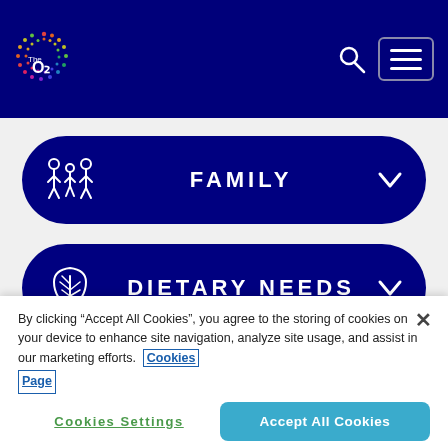[Figure (logo): The O2 logo — circular colorful dot pattern with 'The O2' text in white on dark navy header]
[Figure (screenshot): FAMILY navigation button — dark navy pill/rounded rectangle with family icon and chevron]
[Figure (screenshot): DIETARY NEEDS navigation button — dark navy pill/rounded rectangle with leaf icon and chevron]
By clicking “Accept All Cookies”, you agree to the storing of cookies on your device to enhance site navigation, analyze site usage, and assist in our marketing efforts. Cookies Page
Cookies Settings
Accept All Cookies